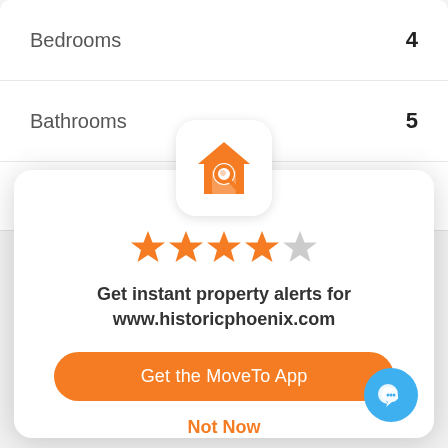| Bedrooms | 4 |
| Bathrooms | 5 |
| Living SQFT |  |
[Figure (logo): MoveTo app icon — orange house with magnifying glass on white rounded square background]
[Figure (other): 4 out of 5 orange stars rating]
Get instant property alerts for www.historicphoenix.com
Get the MoveTo App
Not Now